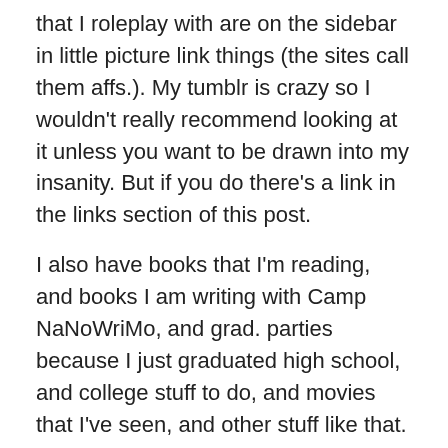that I roleplay with are on the sidebar in little picture link things (the sites call them affs.). My tumblr is crazy so I wouldn't really recommend looking at it unless you want to be drawn into my insanity. But if you do there's a link in the links section of this post.
I also have books that I'm reading, and books I am writing with Camp NaNoWriMo, and grad. parties because I just graduated high school, and college stuff to do, and movies that I've seen, and other stuff like that. So yeah I've been busy, also there are charities that I've been trying to raise money for (unsuccessfully might I add).
That's what I've been doing, and this post is very uninteresting and a huge block of text but I don't really care because if you love me you'll read it anyway. The aforementioned links are just below this sentence in a